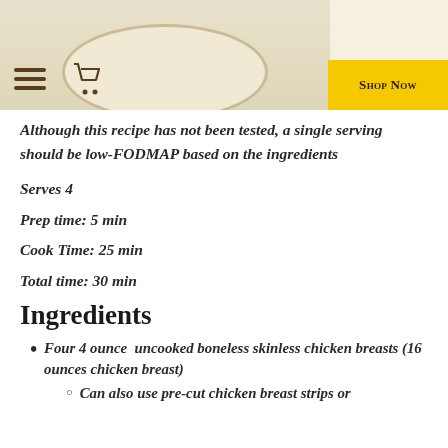[Figure (photo): Header area with a decorative plate/dish image on a cream background, hamburger menu icon and shopping cart icon on the left, and a yellow 'Shop Now' button on the right]
Although this recipe has not been tested, a single serving should be low-FODMAP based on the ingredients
Serves 4
Prep time: 5 min
Cook Time: 25 min
Total time: 30 min
Ingredients
Four 4 ounce  uncooked boneless skinless chicken breasts (16 ounces chicken breast)
Can also use pre-cut chicken breast strips or